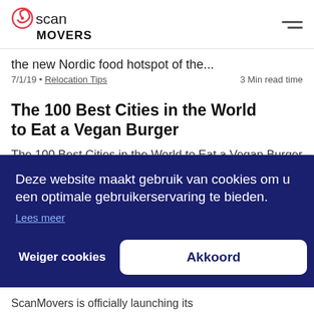scan MOVERS
the new Nordic food hotspot of the...
7/1/19 • Relocation Tips    3 Min read time
The 100 Best Cities in the World to Eat a Vegan Burger
The 100 Best Cities in the World to Eat a Vegan Burger Vegan is the thing in 2019, especially among bearded craft-
Deze website maakt gebruik van cookies om u een optimale gebruikerservaring te bieden.
Lees meer
Weiger cookies    Akkoord
ScanMovers is officially launching its